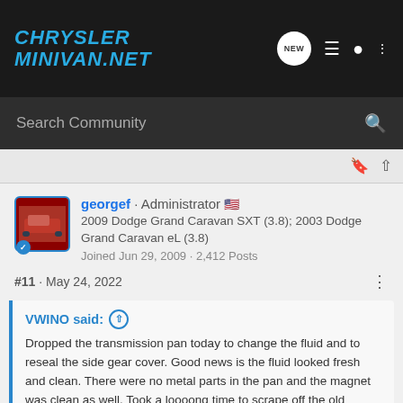CHRYSLER MINIVAN.NET
Search Community
georgef · Administrator
2009 Dodge Grand Caravan SXT (3.8); 2003 Dodge Grand Caravan eL (3.8)
Joined Jun 29, 2009 · 2,412 Posts
#11 · May 24, 2022
VWINO said:
Dropped the transmission pan today to change the fluid and to reseal the side gear cover. Good news is the fluid looked fresh and clean. There were no metal parts in the pan and the magnet was clean as well. Took a loooong time to scrape off the old sealant. The mechanic who installed the transmission used copious amounts of it on the pan. View attachment 66424